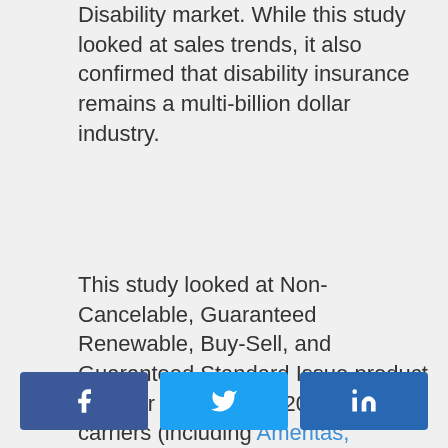Disability market. While this study looked at sales trends, it also confirmed that disability insurance remains a multi-billion dollar industry.
This study looked at Non-Cancelable, Guaranteed Renewable, Buy-Sell, and Guaranteed Standard Issue product lines for 2019 and 2020.  Sixteen carriers (including Ameritas, Guardian, MassMutual, MetLife, Mutual of Omaha, Northwestern Mutual, Principal, Standard, and Unum) participated in the study.
[Figure (other): Social media sharing buttons: Facebook, Twitter, LinkedIn]